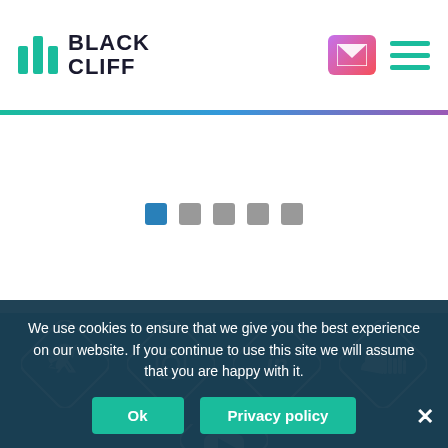[Figure (logo): Black Cliff logo with teal vertical bars and bold text BLACK CLIFF]
[Figure (screenshot): Email icon (pink/purple gradient envelope) and hamburger menu icon (teal lines)]
[Figure (infographic): Pagination dots: one blue active square and four grey inactive squares]
[Figure (infographic): Social media icons in diamond shapes on teal background: Twitter, Instagram, LinkedIn, SoundCloud, and partial YouTube]
We use cookies to ensure that we give you the best experience on our website. If you continue to use this site we will assume that you are happy with it.